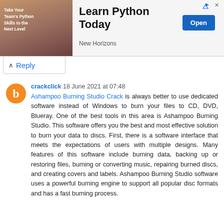[Figure (other): Advertisement banner: image of a woman on the left, text 'Learn Python Today' in center, 'Open' button, 'New Horizons' subtitle]
Reply
crackclick 18 June 2021 at 07:48
Ashampoo Burning Studio Crack is always better to use dedicated software instead of Windows to burn your files to CD, DVD, Blueray. One of the best tools in this area is Ashampoo Burning Studio. This software offers you the best and most effective solution to burn your data to discs. First, there is a software interface that meets the expectations of users with multiple designs. Many features of this software include burning data, backing up or restoring files, burning or converting music, repairing burned discs, and creating covers and labels. Ashampoo Burning Studio software uses a powerful burning engine to support all popular disc formats and has a fast burning process.